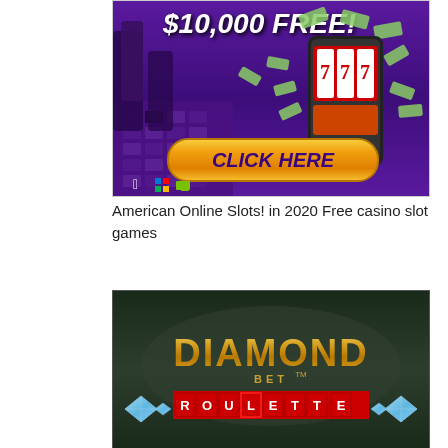[Figure (illustration): Online casino advertisement banner with purple background showing a slot machine on a smartphone with money flying out, and a golden 'CLICK HERE' button. Text reads '$10,000 FREE!' at top. Apple, Windows, and Android icons at bottom left.]
American Online Slots! in 2020 Free casino slot games
[Figure (illustration): Diamond Bet Roulette game advertisement on dark green background showing the word 'DIAMOND' in large gold letters, 'BET' with TM mark, and 'ROULETTE' in white letters on a red bar, with blue diamond graphics on sides.]